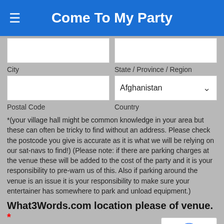Come To My Party
City
State / Province / Region
Postal Code
Country
Afghanistan
*(your village hall might be common knowledge in your area but these can often be tricky to find without an address. Please check the postcode you give is accurate as it is what we will be relying on our sat-navs to find!) (Please note: if there are parking charges at the venue these will be added to the cost of the party and it is your responsibility to pre-warn us of this. Also if parking around the venue is an issue it is your responsibility to make sure your entertainer has somewhere to park and unload equipment.)
What3Words.com location please of venue. *
Www.what3words.com - please provide a specific reference for venue location from this site to enable us to easily find you.